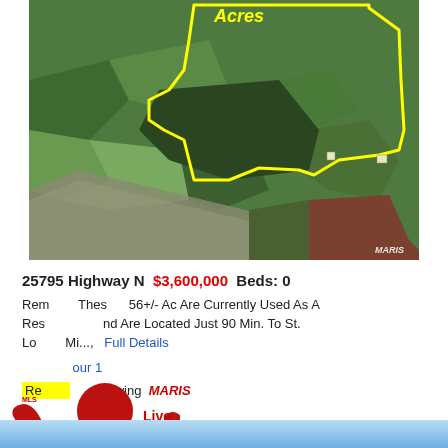[Figure (map): Aerial satellite map showing a property parcel outlined in yellow, labeled 'Acres' in yellow text at the top. The parcel covers mixed farmland and wooded areas. A MARIS watermark appears in the lower right corner.]
25795 Highway N  $3,600,000  Beds: 0
Rem... These ... 56+/- Ac Are Currently Used As A Res... ... id Are Located Just 90 Min. To St. Lo... Mi... , ... Full Details
...our 1
Re... Showing MARIS
[Figure (illustration): Red cartoon human figure with 'Click here' text and 'Live Chat' annotation overlay, partially obscuring the listing description text.]